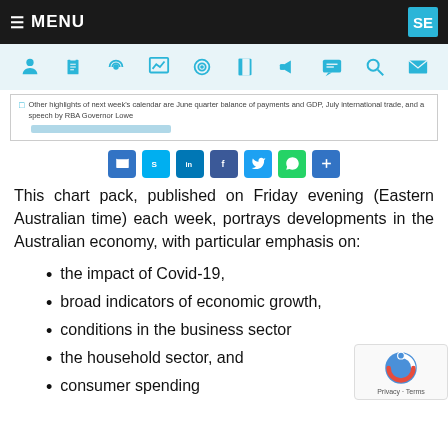MENU | SE
[Figure (screenshot): Icon navigation bar with user, clipboard, broadcast, chart, target, book, megaphone, speech bubble, search, and mail icons]
Other highlights of next week's calendar are June quarter balance of payments and GDP, July international trade, and a speech by RBA Governor Lowe
[Figure (infographic): Social share buttons: Email, Skype, LinkedIn, Facebook, Twitter, WhatsApp, More]
This chart pack, published on Friday evening (Eastern Australian time) each week, portrays developments in the Australian economy, with particular emphasis on:
the impact of Covid-19,
broad indicators of economic growth,
conditions in the business sector
the household sector, and
consumer spending